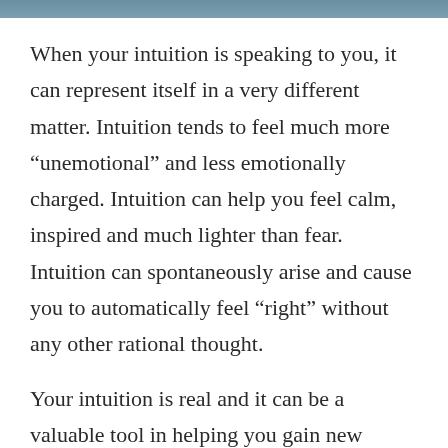[Figure (photo): Top image strip showing a partial photo (nature/outdoor scene) cropped at the top of the page]
When your intuition is speaking to you, it can represent itself in a very different matter. Intuition tends to feel much more “unemotional” and less emotionally charged. Intuition can help you feel calm, inspired and much lighter than fear. Intuition can spontaneously arise and cause you to automatically feel “right” without any other rational thought.
Your intuition is real and it can be a valuable tool in helping you gain new perspective about your life and the decisions you have in front of you. While being able to listen to an intuition may